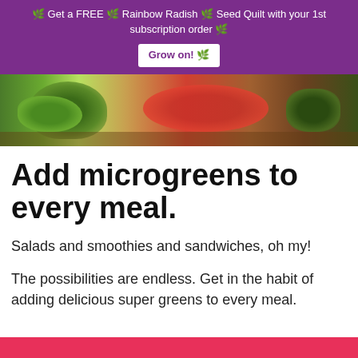🌱 Get a FREE 🌱 Rainbow Radish 🌱 Seed Quilt with your 1st subscription order 🌱  Grow on! 🌱
[Figure (photo): Close-up photo of fresh vegetables on a wooden cutting board, including green herbs/microgreens and red tomatoes]
Add microgreens to every meal.
Salads and smoothies and sandwiches, oh my!
The possibilities are endless. Get in the habit of adding delicious super greens to every meal.